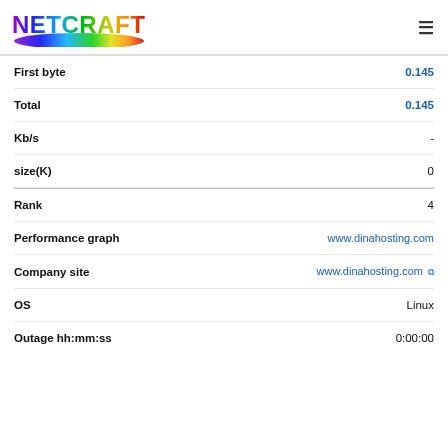Netcraft
| Field | Value |
| --- | --- |
| First byte | 0.145 |
| Total | 0.145 |
| Kb/s | - |
| size(K) | 0 |
| Rank | 4 |
| Performance graph | www.dinahosting.com |
| Company site | www.dinahosting.com |
| OS | Linux |
| Outage hh:mm:ss | 0:00:00 |